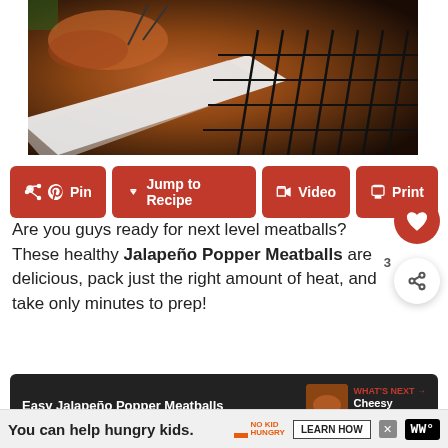[Figure (photo): Close-up photo of Jalapeño Popper Meatballs on a wire rack with a white dish, dark background with food items]
Pin
Jump to Recipe
Video
Print
Are you guys ready for next level meatballs? These healthy Jalapeño Popper Meatballs are delicious, pack just the right amount of heat, and take only minutes to prep!
Easy Jalapeño Popper Meatballs
WHAT'S NEXT → Cheesy Chicken Lo...
[Figure (photo): Video preview thumbnail of meatballs]
You can help hungry kids.
NO KID HUNGRY
LEARN HOW